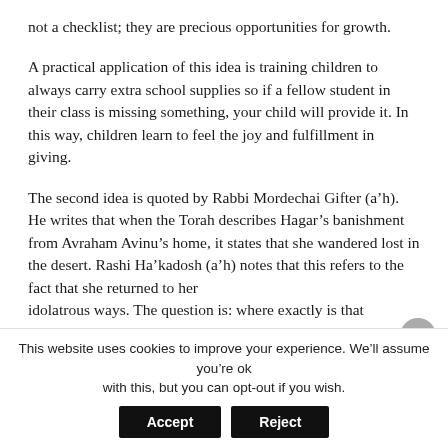not a checklist; they are precious opportunities for growth.
A practical application of this idea is training children to always carry extra school supplies so if a fellow student in their class is missing something, your child will provide it. In this way, children learn to feel the joy and fulfillment in giving.
The second idea is quoted by Rabbi Mordechai Gifter (a’h). He writes that when the Torah describes Hagar’s banishment from Avraham Avinu’s home, it states that she wandered lost in the desert. Rashi Ha’kadosh (a’h) notes that this refers to the fact that she returned to her idolatrous ways. The question is: where exactly is that
This website uses cookies to improve your experience. We'll assume you're ok with this, but you can opt-out if you wish.